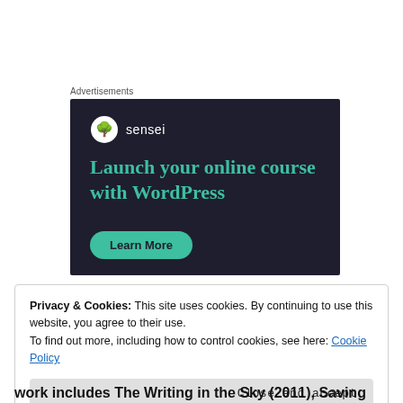Advertisements
[Figure (illustration): Sensei advertisement banner with dark navy background. Shows Sensei logo (white circle with tree icon) and text 'sensei', headline 'Launch your online course with WordPress' in teal color, and a teal 'Learn More' button.]
Privacy & Cookies: This site uses cookies. By continuing to use this website, you agree to their use.
To find out more, including how to control cookies, see here: Cookie Policy
Close and accept
work includes The Writing in the Sky (2011), Saving